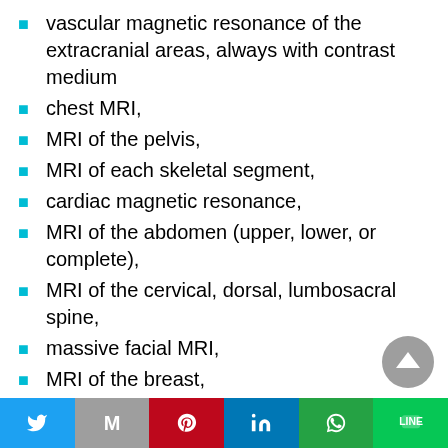vascular magnetic resonance of the extracranial areas, always with contrast medium
chest MRI,
MRI of the pelvis,
MRI of each skeletal segment,
cardiac magnetic resonance,
MRI of the abdomen (upper, lower, or complete),
MRI of the cervical, dorsal, lumbosacral spine,
massive facial MRI,
MRI of the breast,
MRI of the neck,
magnetic resonance with cholangiography technique (MR-cholangiography),